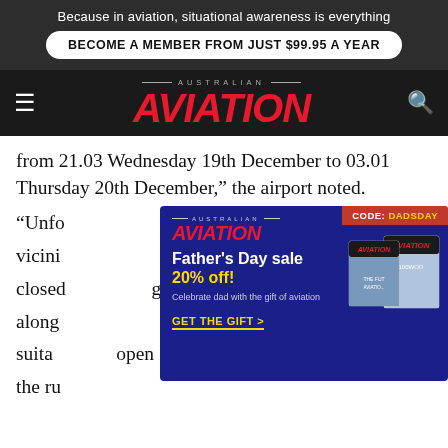Because in aviation, situational awareness is everything
BECOME A MEMBER FROM JUST $99.95 A YEAR
[Figure (logo): Australian Aviation magazine logo with red italic AVIATION text on dark background, hamburger menu and search icon]
from 21.03 Wednesday 19th December to 03.01 Thursday 20th December," the airport noted.
[Figure (infographic): Father's Day sale advertisement for Australian Aviation magazine. Blue background, CODE: DADSDAY in red banner top right. Text: Father's Day sale 20% off! Celebrate dad with the gift of aviation. GET THE GIFT > with magazine images on right.]
[Figure (infographic): Cessna SkyCourier advertisement. Grey background with plane silhouette. Text: HARDWORKING, REVENUE-GENERATING? YES PLEASE. Cessna SkyCourier logo.]
Local law enforcement, Sussex Police, played down